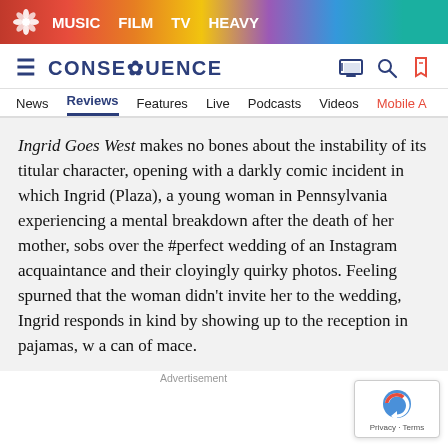MUSIC  FILM  TV  HEAVY
CONSEQUENCE
News  Reviews  Features  Live  Podcasts  Videos  Mobile A
Ingrid Goes West makes no bones about the instability of its titular character, opening with a darkly comic incident in which Ingrid (Plaza), a young woman in Pennsylvania experiencing a mental breakdown after the death of her mother, sobs over the #perfect wedding of an Instagram acquaintance and their cloyingly quirky photos. Feeling spurned that the woman didn't invite her to the wedding, Ingrid responds in kind by showing up to the reception in pajamas, w a can of mace.